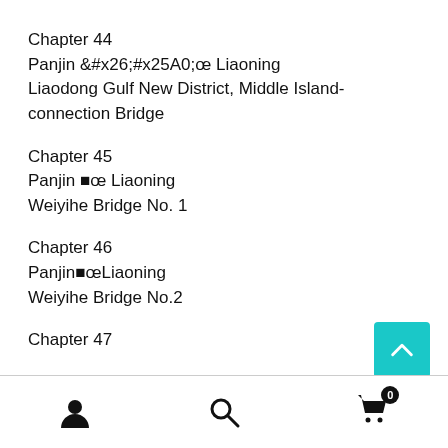Chapter 44
Panjin œ Liaoning
Liaodong Gulf New District, Middle Island-connection Bridge
Chapter 45
Panjin œ Liaoning
Weiyihe Bridge No. 1
Chapter 46
PanjinœLiaoning
Weiyihe Bridge No.2
Chapter 47
user | search | cart (0)